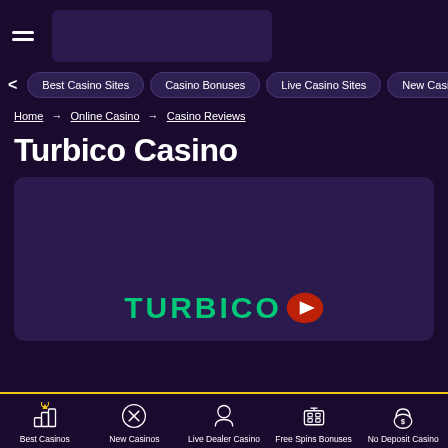Navigation header with hamburger menu and logo placeholder
Best Casino Sites | Casino Bonuses | Live Casino Sites | New Casino
Home → Online Casino → Casino Reviews
Turbico Casino
[Figure (logo): Turbico Casino logo — green uppercase TURBICO text with a red play-button arrow icon to the right, on a dark purple background]
Best Casinos | New Casinos | Live Dealer Casino | Free Spins Bonuses | No Deposit Casino